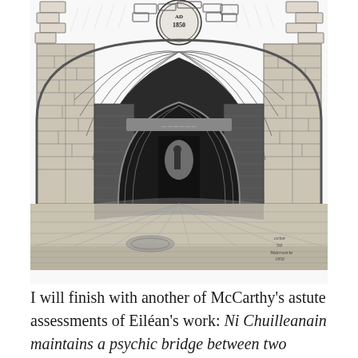[Figure (illustration): Pen-and-ink sketch of a stone archway tunnel passage with brick walls, a second inner arch visible in the distance with a figure, and a circular plaque bearing '1850' at the top. An artist's signature and notation appear at the lower right.]
I will finish with another of McCarthy's astute assessments of Eiléan's work: Ni Chuilleanain maintains a psychic bridge between two cranky and